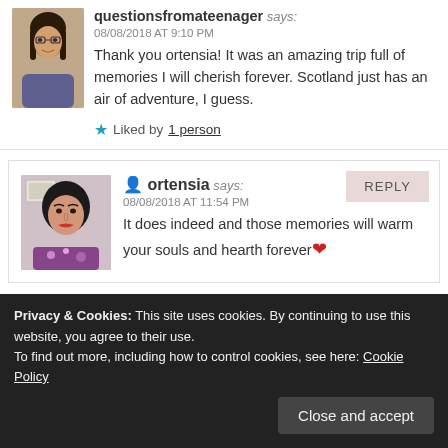questionsfromateenager says:
08/08/2018 AT 9:10 PM
Thank you ortensia! It was an amazing trip full of memories I will cherish forever. Scotland just has an air of adventure, I guess.
Liked by 1 person
ortensia says:
08/08/2018 AT 11:54 PM
It does indeed and those memories will warm your souls and hearth forever❤
Privacy & Cookies: This site uses cookies. By continuing to use this website, you agree to their use.
To find out more, including how to control cookies, see here: Cookie Policy
Close and accept